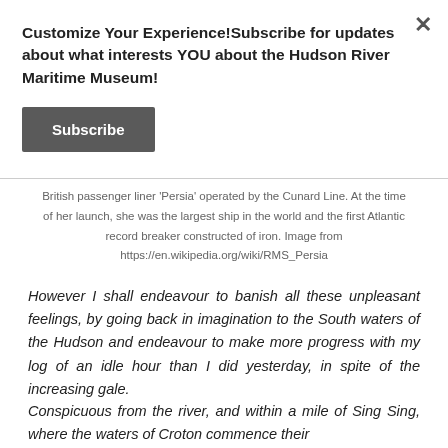Customize Your Experience!Subscribe for updates about what interests YOU about the Hudson River Maritime Museum!
Subscribe
British passenger liner 'Persia' operated by the Cunard Line. At the time of her launch, she was the largest ship in the world and the first Atlantic record breaker constructed of iron. Image from https://en.wikipedia.org/wiki/RMS_Persia
However I shall endeavour to banish all these unpleasant feelings, by going back in imagination to the South waters of the Hudson and endeavour to make more progress with my log of an idle hour than I did yesterday, in spite of the increasing gale.
Conspicuous from the river, and within a mile of Sing Sing, where the waters of Croton commence their